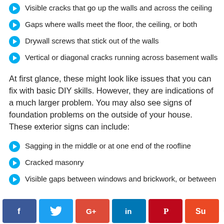Visible cracks that go up the walls and across the ceiling
Gaps where walls meet the floor, the ceiling, or both
Drywall screws that stick out of the walls
Vertical or diagonal cracks running across basement walls
At first glance, these might look like issues that you can fix with basic DIY skills. However, they are indications of a much larger problem. You may also see signs of foundation problems on the outside of your house. These exterior signs can include:
Sagging in the middle or at one end of the roofline
Cracked masonry
Visible gaps between windows and brickwork, or between
f  t  G+  in  (pinterest)  (stumbleupon)  < 0 SHARES